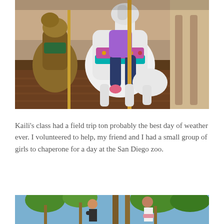[Figure (photo): A child riding a white carousel horse at what appears to be a carousel/merry-go-round, with other carousel animals visible in the background on a wooden floor.]
Kaili's class had a field trip ton probably the best day of weather ever. I volunteered to help, my friend and I had a small group of girls to chaperone for a day at the San Diego zoo.
[Figure (photo): Two children climbing or playing on tree branches or wooden structures outdoors, with palm trees and blue sky in the background.]